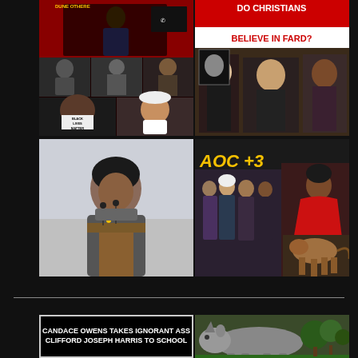[Figure (photo): Top-left collage: multiple images including a man in military uniform, faces of various people, and a person with tape over mouth reading 'BLACK LIVES MATTER']
[Figure (photo): Top-right image with red header text 'DO CHRISTIANS BELIEVE IN FARD?' with photos of several people]
[Figure (photo): Bottom-left: woman at podium speaking into microphone, wearing grey jacket]
[Figure (photo): Bottom-right collage labeled 'AOC +3' with yellow text, showing group of women on left and woman in red dress on right, with horse image at bottom]
CANDACE OWENS TAKES IGNORANT ASS CLIFFORD JOSEPH HARRIS TO SCHOOL
[Figure (photo): Rhino photo in natural setting]